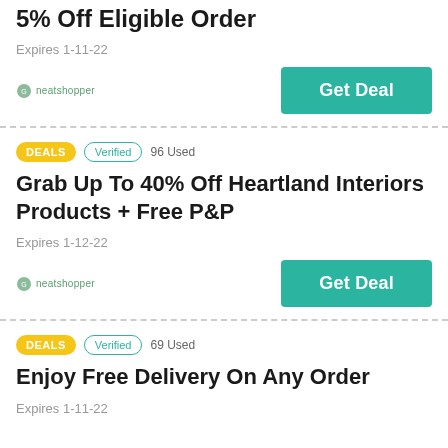5% Off Eligible Order
Expires 1-11-22
Get Deal
DEALS   Verified   96 Used
Grab Up To 40% Off Heartland Interiors Products + Free P&P
Expires 1-12-22
Get Deal
DEALS   Verified   69 Used
Enjoy Free Delivery On Any Order
Expires 1-11-22